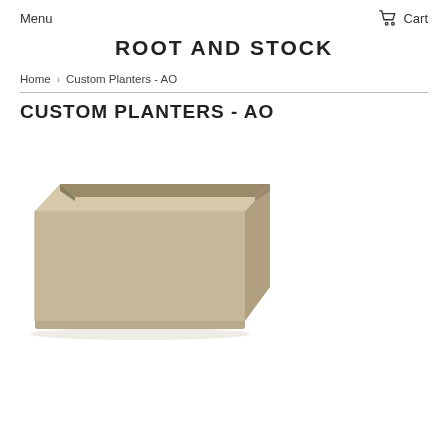Menu  Cart
ROOT AND STOCK
Home > Custom Planters - AO
CUSTOM PLANTERS - AO
[Figure (photo): A rectangular beige/tan custom planter box with clean modern lines, hollow open top, and a small base/plinth, photographed against a white background.]